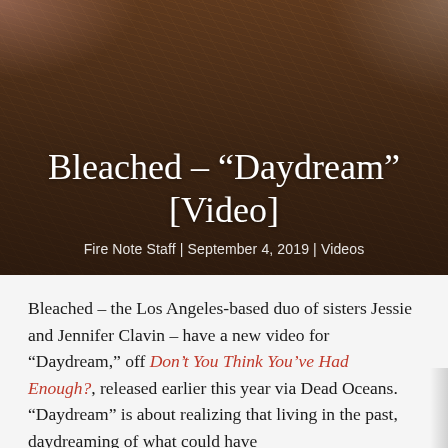[Figure (photo): Hero image of two people lying on hay/straw, viewed from above, with dark overlay. One person wears pink/red checkered clothing.]
Bleached – “Daydream” [Video]
Fire Note Staff | September 4, 2019 | Videos
Bleached – the Los Angeles-based duo of sisters Jessie and Jennifer Clavin – have a new video for “Daydream,” off Don’t You Think You’ve Had Enough?, released earlier this year via Dead Oceans. “Daydream” is about realizing that living in the past, daydreaming of what could have